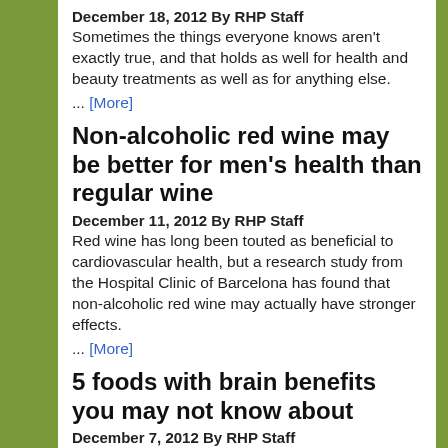December 18, 2012 By RHP Staff
Sometimes the things everyone knows aren't exactly true, and that holds as well for health and beauty treatments as well as for anything else.
... [More]
Non-alcoholic red wine may be better for men's health than regular wine
December 11, 2012 By RHP Staff
Red wine has long been touted as beneficial to cardiovascular health, but a research study from the Hospital Clinic of Barcelona has found that non-alcoholic red wine may actually have stronger effects.
... [More]
5 foods with brain benefits you may not know about
December 7, 2012 By RHP Staff